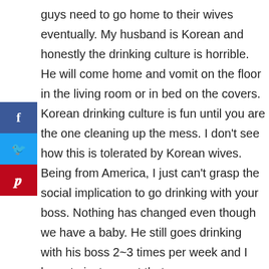[Figure (other): Social media sharing buttons: Facebook (blue), Twitter (light blue), Pinterest (red) stacked vertically on the left side]
guys need to go home to their wives eventually. My husband is Korean and honestly the drinking culture is horrible. He will come home and vomit on the floor in the living room or in bed on the covers. Korean drinking culture is fun until you are the one cleaning up the mess. I don't see how this is tolerated by Korean wives. Being from America, I just can't grasp the social implication to go drinking with your boss. Nothing has changed even though we have a baby. He still goes drinking with his boss 2~3 times per week and I have to just accept that this is the culture. There's...